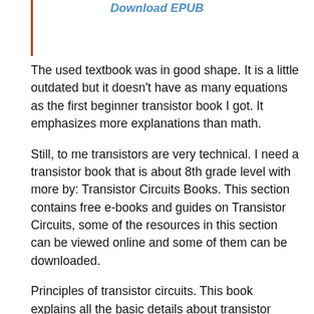Download EPUB
The used textbook was in good shape. It is a little outdated but it doesn't have as many equations as the first beginner transistor book I got. It emphasizes more explanations than math.
Still, to me transistors are very technical. I need a transistor book that is about 8th grade level with more by: Transistor Circuits Books. This section contains free e-books and guides on Transistor Circuits, some of the resources in this section can be viewed online and some of them can be downloaded.
Principles of transistor circuits. This book explains all the basic details about transistor circuits. Author(s): Richard Franklin Shea. Pages. The purpose of this book is to help the reader to understand how transistors work and how to design a simple transistor circuit.
It is addressed to amateur circuit designer with little